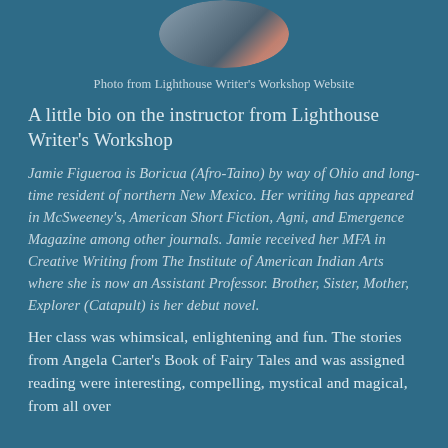[Figure (photo): Circular cropped photo of Jamie Figueroa from Lighthouse Writer's Workshop Website, showing partial view of a person]
Photo from Lighthouse Writer's Workshop Website
A little bio on the instructor from Lighthouse Writer's Workshop
Jamie Figueroa is Boricua (Afro-Taino) by way of Ohio and long-time resident of northern New Mexico. Her writing has appeared in McSweeney's, American Short Fiction, Agni, and Emergence Magazine among other journals. Jamie received her MFA in Creative Writing from The Institute of American Indian Arts where she is now an Assistant Professor. Brother, Sister, Mother, Explorer (Catapult) is her debut novel.
Her class was whimsical, enlightening and fun. The stories from Angela Carter's Book of Fairy Tales and was assigned reading were interesting, compelling, mystical and magical, from all over...